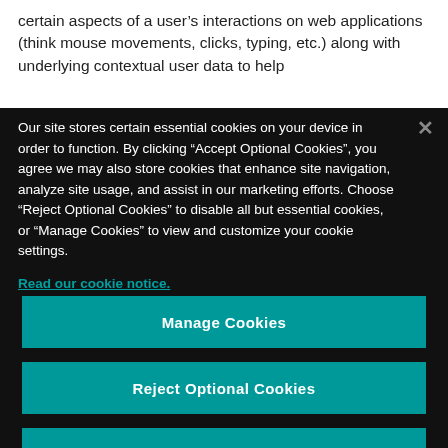certain aspects of a user’s interactions on web applications (think mouse movements, clicks, typing, etc.) along with underlying contextual user data to help
Our site stores certain essential cookies on your device in order to function. By clicking “Accept Optional Cookies”, you agree we may also store cookies that enhance site navigation, analyze site usage, and assist in our marketing efforts. Choose “Reject Optional Cookies” to disable all but essential cookies, or “Manage Cookies” to view and customize your cookie settings.
Read our cookie notice.
Manage Cookies
Reject Optional Cookies
Accept Optional Cookies